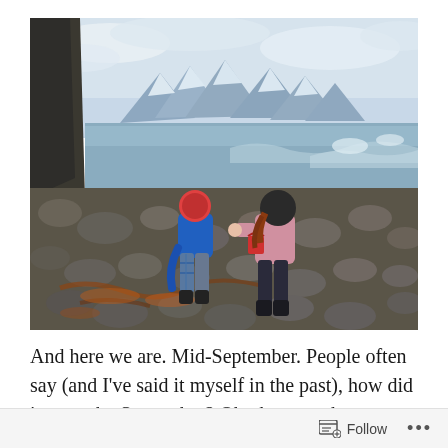[Figure (photo): Two children playing on a rocky seashore. One child wearing a blue jacket and plaid pants, another wearing a pink jacket and dark hat holding a red bucket. Rocky beach with brown seaweed, waves crashing, snow-capped mountains and cloudy sky in the background.]
And here we are. Mid-September. People often say (and I've said it myself in the past), how did it get to be September? Oh, the past, that optimistically non-COVID place. This year I feel like
Follow ...